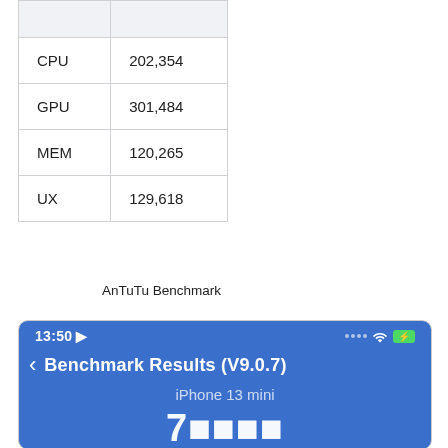|  |  |
| --- | --- |
| CPU | 202,354 |
| GPU | 301,484 |
| MEM | 120,265 |
| UX | 129,618 |
AnTuTu Benchmark
[Figure (screenshot): AnTuTu Benchmark Results screenshot showing iPhone 13 mini with status bar at 13:50, navigation bar with back arrow and title 'Benchmark Results (V9.0.7)', device name 'iPhone 13 mini', and partially visible large score number at bottom.]